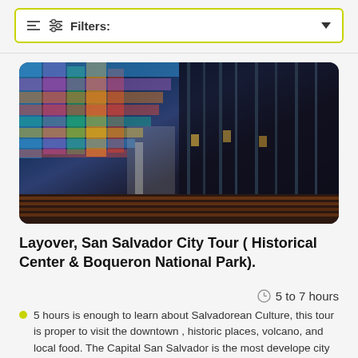Filters:
[Figure (photo): Interior photo of a church or cathedral with colorful stained glass windows and rows of seats visible]
Layover, San Salvador City Tour ( Historical Center & Boqueron National Park).
5 to 7 hours
5 hours is enough to learn about Salvadorean Culture, this tour is proper to visit the downtown , historic places, volcano, and local food. The Capital San Salvador is the most develope city and its rich in... Read more